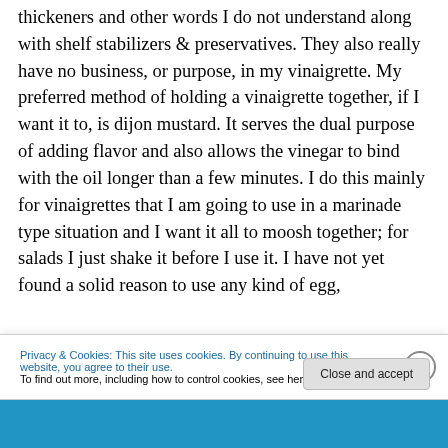thickeners and other words I do not understand along with shelf stabilizers & preservatives. They also really have no business, or purpose, in my vinaigrette. My preferred method of holding a vinaigrette together, if I want it to, is dijon mustard. It serves the dual purpose of adding flavor and also allows the vinegar to bind with the oil longer than a few minutes. I do this mainly for vinaigrettes that I am going to use in a marinade type situation and I want it all to moosh together; for salads I just shake it before I use it. I have not yet found a solid reason to use any kind of egg,
Privacy & Cookies: This site uses cookies. By continuing to use this website, you agree to their use.
To find out more, including how to control cookies, see here: Cookie Policy
Close and accept